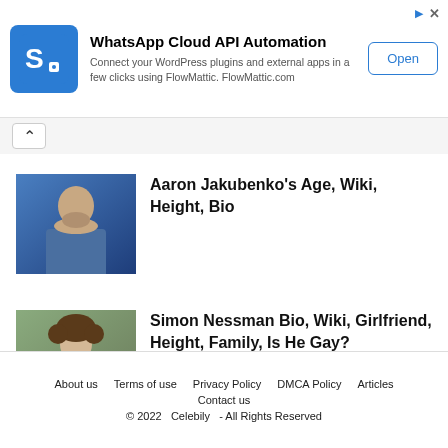[Figure (infographic): WhatsApp Cloud API Automation advertisement banner with FlowMattic logo (blue square with S-like icon), text about connecting WordPress plugins, and an Open button]
Aaron Jakubenko's Age, Wiki, Height, Bio
[Figure (photo): Portrait photo of Aaron Jakubenko, a man with short beard against blue background]
Simon Nessman Bio, Wiki, Girlfriend, Height, Family, Is He Gay?
[Figure (photo): Portrait photo of Simon Nessman, a man with curly hair against outdoor background]
About us   Terms of use   Privacy Policy   DMCA Policy   Articles   Contact us   © 2022   Celebily   - All Rights Reserved